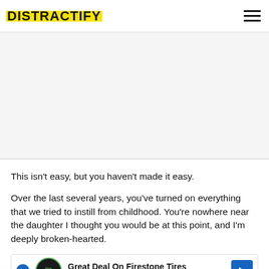DISTRACTIFY
[Figure (other): Advertisement placeholder area (gray background)]
This isn't easy, but you haven't made it easy.
Over the last several years, you've turned on everything that we tried to instill from childhood. You're nowhere near the daughter I thought you would be at this point, and I'm deeply broken-hearted.
[Figure (other): Ad banner: Great Deal On Firestone Tires - Virginia Tire & Auto of Ashburn Fa...]
Y b